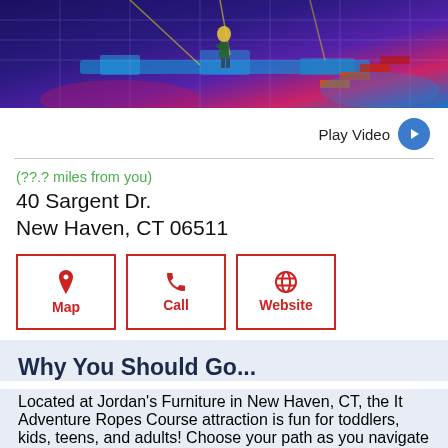[Figure (photo): Indoor ropes course/adventure park with colorful lighting, nets, and platforms visible. Person standing on an elevated platform.]
Play Video
(??.? miles from you)
40 Sargent Dr.
New Haven, CT 06511
Map
Call
Website
Why You Should Go...
Located at Jordan's Furniture in New Haven, CT, the It Adventure Ropes Course attraction is fun for toddlers, kids, teens, and adults! Choose your path as you navigate obstacles through the four-level ropes
More....